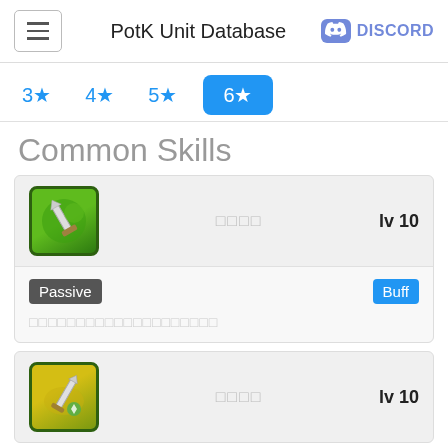PotK Unit Database
Common Skills
[Figure (screenshot): Skill card 1: green axe icon, skill name (Japanese), lv 10, Passive/Buff tags, description text]
[Figure (screenshot): Skill card 2: green sword icon, skill name (Japanese), lv 10]